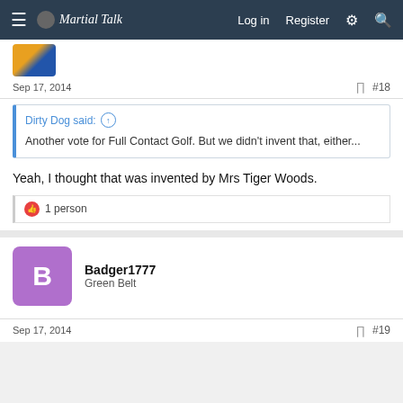Martial Talk — Log in  Register
Sep 17, 2014   #18
Dirty Dog said: ↑
Another vote for Full Contact Golf. But we didn't invent that, either...
Yeah, I thought that was invented by Mrs Tiger Woods.
1 person
Badger1777
Green Belt
Sep 17, 2014   #19